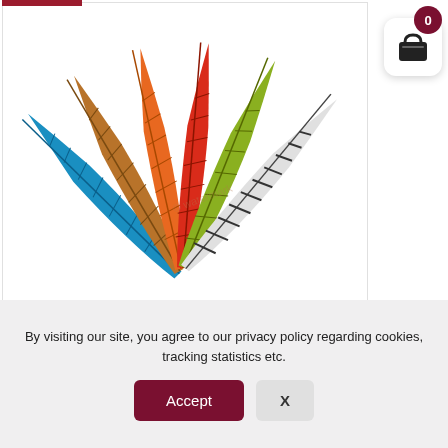[Figure (photo): Multiple colorful barred feathers fanned out — blue, brown, orange, red, olive/yellow-green, and black-and-white striped — arranged in a fan pattern on a white background with a watermark.]
Full Length Feathers – Barred
£9.00 £6.88
By visiting our site, you agree to our privacy policy regarding cookies, tracking statistics etc.